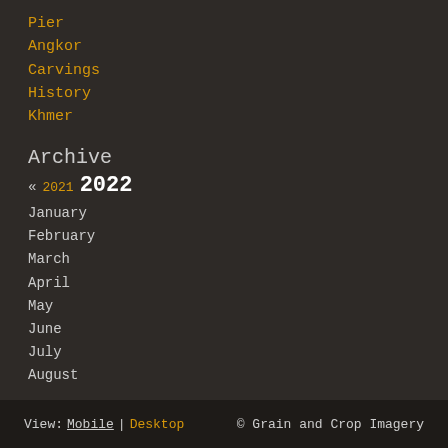Pier
Angkor
Carvings
History
Khmer
Archive
« 2021 2022
January
February
March
April
May
June
July
August
View: Mobile | Desktop   © Grain and Crop Imagery